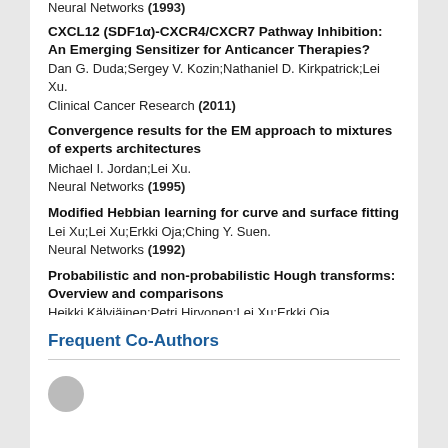Neural Networks (1993)
CXCL12 (SDF1α)-CXCR4/CXCR7 Pathway Inhibition: An Emerging Sensitizer for Anticancer Therapies?
Dan G. Duda;Sergey V. Kozin;Nathaniel D. Kirkpatrick;Lei Xu.
Clinical Cancer Research (2011)
Convergence results for the EM approach to mixtures of experts architectures
Michael I. Jordan;Lei Xu.
Neural Networks (1995)
Modified Hebbian learning for curve and surface fitting
Lei Xu;Lei Xu;Erkki Oja;Ching Y. Suen.
Neural Networks (1992)
Probabilistic and non-probabilistic Hough transforms: Overview and comparisons
Heikki Kälviäinen;Petri Hirvonen;Lei Xu;Erkki Oja.
Image and Vision Computing (1995)
Frequent Co-Authors